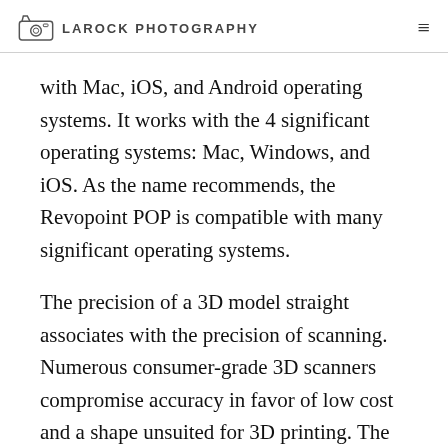LAROCK PHOTOGRAPHY
with Mac, iOS, and Android operating systems. It works with the 4 significant operating systems: Mac, Windows, and iOS. As the name recommends, the Revopoint POP is compatible with many significant operating systems.
The precision of a 3D model straight associates with the precision of scanning. Numerous consumer-grade 3D scanners compromise accuracy in favor of low cost and a shape unsuited for 3D printing. The